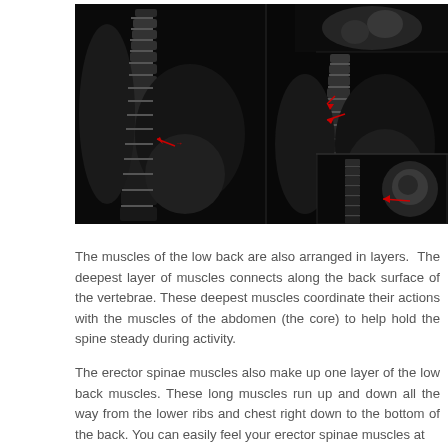[Figure (photo): Three MRI scan images of the lumbar spine shown side by side on a black background. The left image is a sagittal MRI showing the lumbar vertebrae and surrounding soft tissue with a red arrow pointing to a specific vertebral level. The center image is another sagittal MRI view at a different level showing lumbar spine detail with two red arrows indicating specific structures. The right image is a coronal MRI view of the lumbar spine showing vertebrae and adjacent structures with a red arrow pointing to a region of interest.]
The muscles of the low back are also arranged in layers. The deepest layer of muscles connects along the back surface of the vertebrae. These deepest muscles coordinate their actions with the muscles of the abdomen (the core) to help hold the spine steady during activity.
The erector spinae muscles also make up one layer of the low back muscles. These long muscles run up and down all the way from the lower ribs and chest right down to the bottom of the back. You can easily feel your erector spinae muscles at